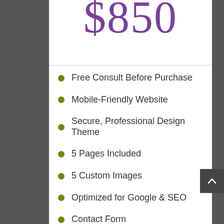$850
Free Consult Before Purchase
Mobile-Friendly Website
Secure, Professional Design Theme
5 Pages Included
5 Custom Images
Optimized for Google & SEO
Contact Form
Blog Section, Unlimited Pages